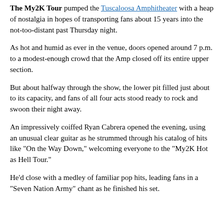The My2K Tour pumped the Tuscaloosa Amphitheater with a heap of nostalgia in hopes of transporting fans about 15 years into the not-too-distant past Thursday night.
As hot and humid as ever in the venue, doors opened around 7 p.m. to a modest-enough crowd that the Amp closed off its entire upper section.
But about halfway through the show, the lower pit filled just about to its capacity, and fans of all four acts stood ready to rock and swoon their night away.
An impressively coiffed Ryan Cabrera opened the evening, using an unusual clear guitar as he strummed through his catalog of hits like "On the Way Down," welcoming everyone to the "My2K Hot as Hell Tour."
He'd close with a medley of familiar pop hits, leading fans in a "Seven Nation Army" chant as he finished his set.